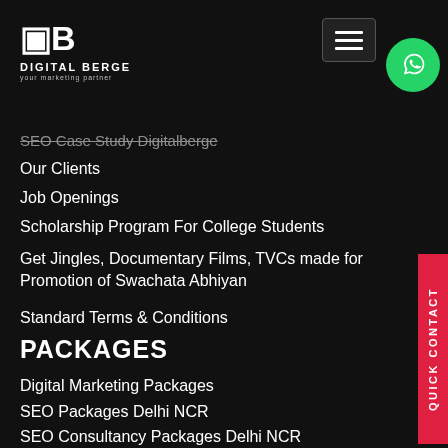[Figure (logo): Digital Berge logo with DB icon and tagline 'your marketing partner']
SEO Case Study Digitalberge
Our Clients
Job Openings
Scholarship Program For College Students
Get Jingles, Documentary Films, TVCs made for Promotion of Swachata Abhiyan
Standard Terms & Conditions
PACKAGES
Digital Marketing Packages
SEO Packages Delhi NCR
SEO Consultancy Packages Delhi NCR
Best Local SEO Packages in Delhi NCR
ORM Packages Delhi NCR
PPC Packages Delhi NCR